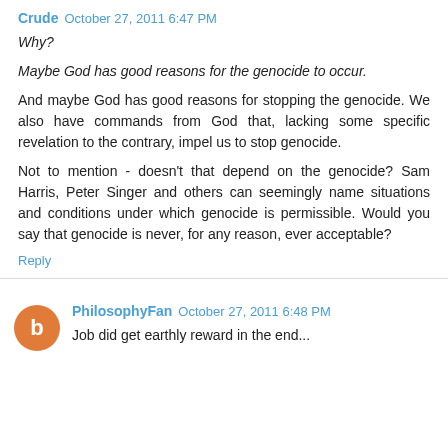Crude  October 27, 2011 6:47 PM
Why?
Maybe God has good reasons for the genocide to occur.
And maybe God has good reasons for stopping the genocide. We also have commands from God that, lacking some specific revelation to the contrary, impel us to stop genocide.
Not to mention - doesn't that depend on the genocide? Sam Harris, Peter Singer and others can seemingly name situations and conditions under which genocide is permissible. Would you say that genocide is never, for any reason, ever acceptable?
Reply
PhilosophyFan  October 27, 2011 6:48 PM
Job did get earthly reward in the end...